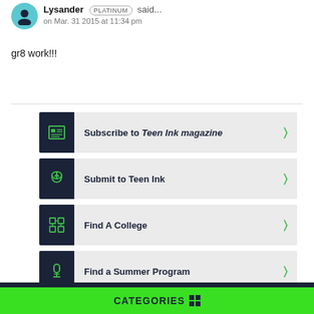Lysander PLATINUM said... on Mar. 31 2015 at 11:34 pm
gr8 work!!!
Subscribe to Teen Ink magazine
Submit to Teen Ink
Find A College
Find a Summer Program
CATEGORIES